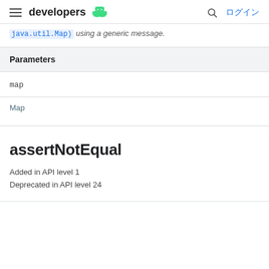developers ログイン
java.util.Map) using a generic message.
| Parameters |
| --- |
| map |
| Map |
assertNotEqual
Added in API level 1
Deprecated in API level 24